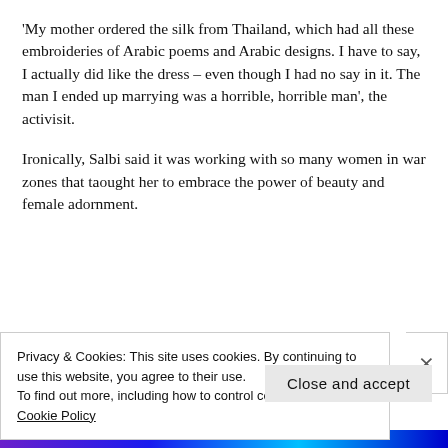'My mother ordered the silk from Thailand, which had all these embroideries of Arabic poems and Arabic designs. I have to say, I actually did like the dress – even though I had no say in it. The man I ended up marrying was a horrible, horrible man', the activisit.
Ironically, Salbi said it was working with so many women in war zones that taought her to embrace the power of beauty and female adornment.
'In the beginning, I used to go to war zones
Privacy & Cookies: This site uses cookies. By continuing to use this website, you agree to their use.
To find out more, including how to control cookies, see here: Cookie Policy
Close and accept